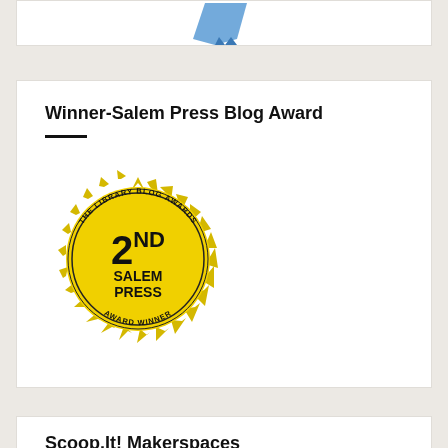[Figure (other): Partial top card showing bottom edge with a blue arrow/logo element]
Winner-Salem Press Blog Award
[Figure (illustration): Yellow starburst badge reading 'THE LIBRARY BLOG AWARDS AWARD WINNER' around the edge, with '2ND SALEM PRESS' in the center]
Scoop.It! Makerspaces